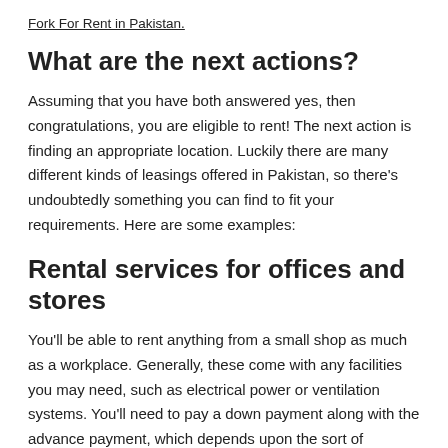Fork For Rent in Pakistan.
What are the next actions?
Assuming that you have both answered yes, then congratulations, you are eligible to rent! The next action is finding an appropriate location. Luckily there are many different kinds of leasings offered in Pakistan, so there's undoubtedly something you can find to fit your requirements. Here are some examples:
Rental services for offices and stores
You'll be able to rent anything from a small shop as much as a workplace. Generally, these come with any facilities you may need, such as electrical power or ventilation systems. You'll need to pay a down payment along with the advance payment, which depends upon the sort of services you choose. The advance amount is refundable at the end of your contract. When it